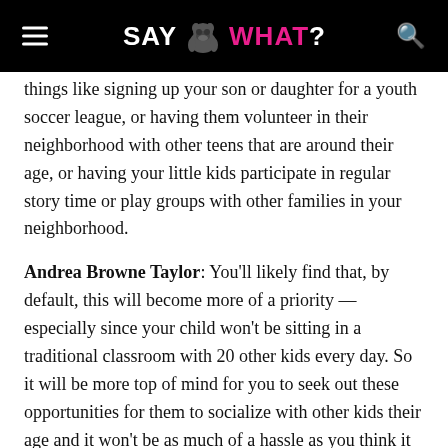SAY WHAT?
things like signing up your son or daughter for a youth soccer league, or having them volunteer in their neighborhood with other teens that are around their age, or having your little kids participate in regular story time or play groups with other families in your neighborhood.
Andrea Browne Taylor: You'll likely find that, by default, this will become more of a priority — especially since your child won't be sitting in a traditional classroom with 20 other kids every day. So it will be more top of mind for you to seek out these opportunities for them to socialize with other kids their age and it won't be as much of a hassle as you think it is.
Andrea Browne Taylor: One more thing that I want to mention is that a lot of them said, you really don't have to go broke to homeschool your kids. Take advantage of any of the